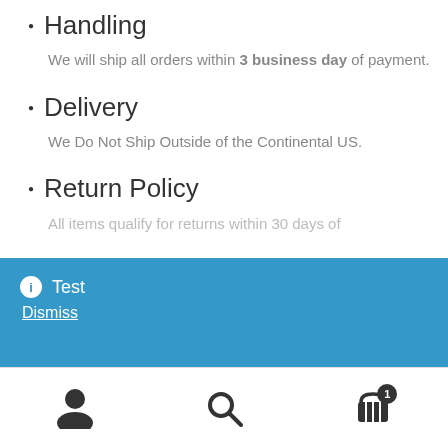Handling
We will ship all orders within 3 business day of payment.
Delivery
We Do Not Ship Outside of the Continental US.
Return Policy
All items qualify for returns within 30 days of
ℹ Test
Dismiss
[Figure (infographic): Bottom navigation toolbar with user icon, search icon, and cart icon with badge showing 1]